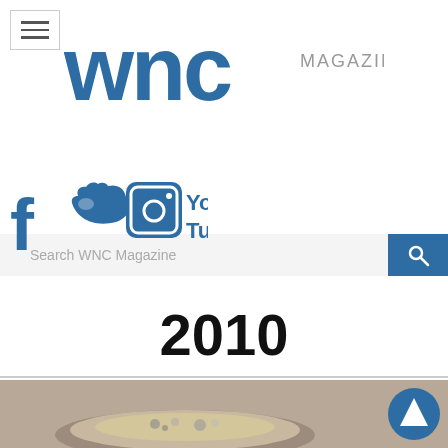[Figure (screenshot): Hamburger menu button with three horizontal lines]
[Figure (logo): WNC Magazine logo with blue WNC text and gray MAGAZINE text]
[Figure (screenshot): Search bar with text 'Search WNC Magazine' and blue search button with magnifying glass icon]
[Figure (infographic): Social media icons: Facebook, Twitter, Instagram, YouTube in blue]
2010
[Figure (photo): Photo of a bowl of food (grain/herb dish) with a circular up-arrow navigation button overlay]